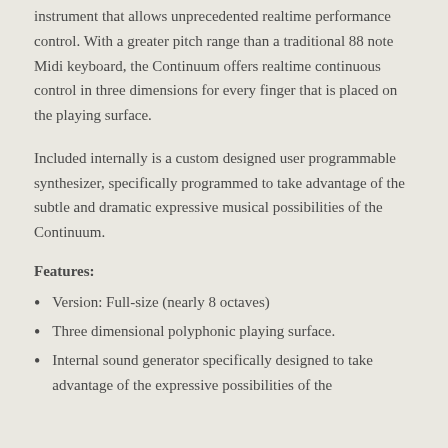instrument that allows unprecedented realtime performance control. With a greater pitch range than a traditional 88 note Midi keyboard, the Continuum offers realtime continuous control in three dimensions for every finger that is placed on the playing surface.
Included internally is a custom designed user programmable synthesizer, specifically programmed to take advantage of the subtle and dramatic expressive musical possibilities of the Continuum.
Features:
Version: Full-size (nearly 8 octaves)
Three dimensional polyphonic playing surface.
Internal sound generator specifically designed to take advantage of the expressive possibilities of the